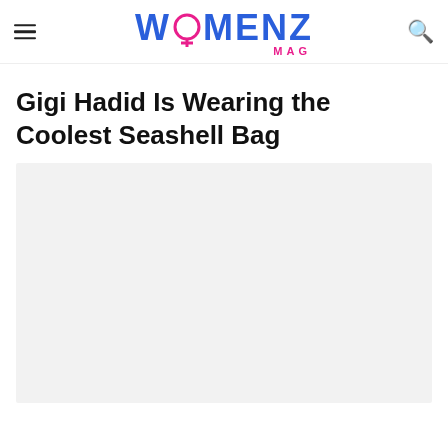WOMENZ MAG
Gigi Hadid Is Wearing the Coolest Seashell Bag
[Figure (photo): Light gray image placeholder rectangle for article photo]